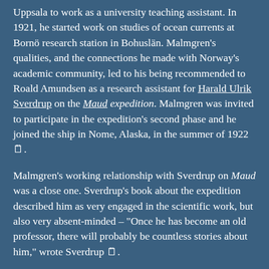Uppsala to work as a university teaching assistant. In 1921, he started work on studies of ocean currents at Bornö research station in Bohuslän. Malmgren's qualities, and the connections he made with Norway's academic community, led to his being recommended to Roald Amundsen as a research assistant for Harald Ulrik Sverdrup on the Maud expedition. Malmgren was invited to participate in the expedition's second phase and he joined the ship in Nome, Alaska, in the summer of 1922 🗒.
Malmgren's working relationship with Sverdrup on Maud was a close one. Sverdrup's book about the expedition described him as very engaged in the scientific work, but also very absent-minded – "Once he has become an old professor, there will probably be countless stories about him," wrote Sverdrup 🗒.
[Figure (photo): Black and white photograph, partially visible at bottom of page, showing what appears to be structural beams or ship interior.]